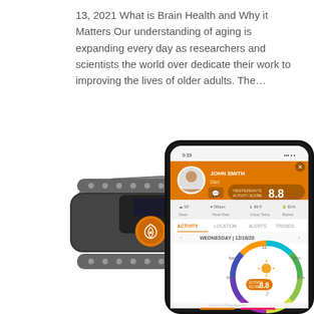13, 2021 What is Brain Health and Why it Matters Our understanding of aging is expanding every day as researchers and scientists the world over dedicate their work to improving the lives of older adults. The…
[Figure (photo): A fitness/health tracking wristband device with a black and grey perforated strap and an orange circular button with a logo, displayed alongside a smartphone showing a health tracking app interface. The app shows a profile for 'JOHN SMITH - Dad' with an activity score of 8.8, navigation tabs for Activity, Location, Alerts, Trends, and a circular activity clock chart for Wednesday 12/16/20.]